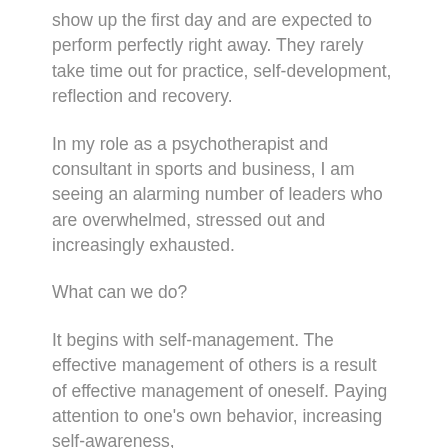show up the first day and are expected to perform perfectly right away. They rarely take time out for practice, self-development, reflection and recovery.
In my role as a psychotherapist and consultant in sports and business, I am seeing an alarming number of leaders who are overwhelmed, stressed out and increasingly exhausted.
What can we do?
It begins with self-management. The effective management of others is a result of effective management of oneself. Paying attention to one's own behavior, increasing self-awareness,